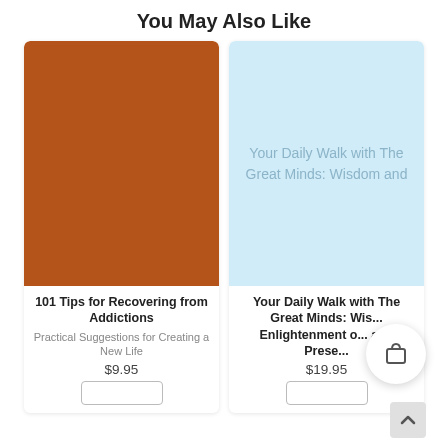You May Also Like
[Figure (illustration): Book cover with brown/orange solid background — 101 Tips for Recovering from Addictions]
101 Tips for Recovering from Addictions
Practical Suggestions for Creating a New Life
$9.95
[Figure (illustration): Book cover with light blue background and text: Your Daily Walk with The Great Minds: Wisdom and]
Your Daily Walk with The Great Minds: Wisdom and Enlightenment of the Ages and Prese...
$19.95